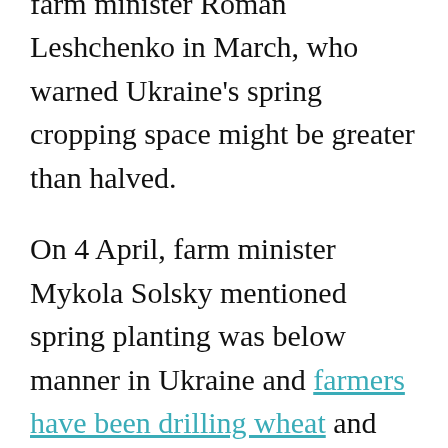delivered by former Ukrainian farm minister Roman Leshchenko in March, who warned Ukraine's spring cropping space might be greater than halved.
On 4 April, farm minister Mykola Solsky mentioned spring planting was below manner in Ukraine and farmers have been drilling wheat and barley, however had not began maize, sunflowers and different crops.
Mr Solsky predicted there might be issues with logistics in harvesting, transporting and processing the crops later within the season.